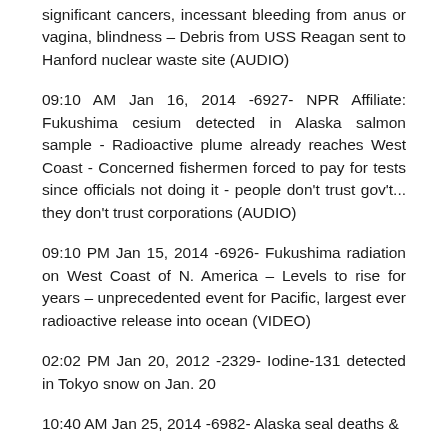significant cancers, incessant bleeding from anus or vagina, blindness – Debris from USS Reagan sent to Hanford nuclear waste site (AUDIO)
09:10 AM Jan 16, 2014 -6927- NPR Affiliate: Fukushima cesium detected in Alaska salmon sample - Radioactive plume already reaches West Coast - Concerned fishermen forced to pay for tests since officials not doing it - people don't trust gov't... they don't trust corporations (AUDIO)
09:10 PM Jan 15, 2014 -6926- Fukushima radiation on West Coast of N. America – Levels to rise for years – unprecedented event for Pacific, largest ever radioactive release into ocean (VIDEO)
02:02 PM Jan 20, 2012 -2329- Iodine-131 detected in Tokyo snow on Jan. 20
10:40 AM Jan 25, 2014 -6982- Alaska seal deaths &